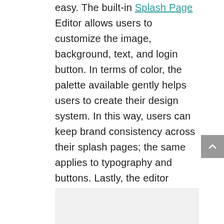easy. The built-in Splash Page Editor allows users to customize the image, background, text, and login button. In terms of color, the palette available gently helps users to create their design system. In this way, users can keep brand consistency across their splash pages; the same applies to typography and buttons. Lastly, the editor allows users to set Terms and Conditions to have WiFi networks up-to-date and fully compliant with data privacy law.
[Figure (other): Partial image area visible at bottom of page, light gray background]